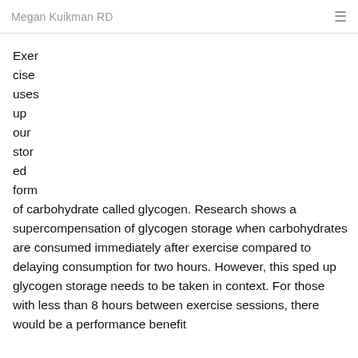Megan Kuikman RD
Exercise uses up our stored form of carbohydrate called glycogen. Research shows a supercompensation of glycogen storage when carbohydrates are consumed immediately after exercise compared to delaying consumption for two hours. However, this sped up glycogen storage needs to be taken in context. For those with less than 8 hours between exercise sessions, there would be a performance benefit